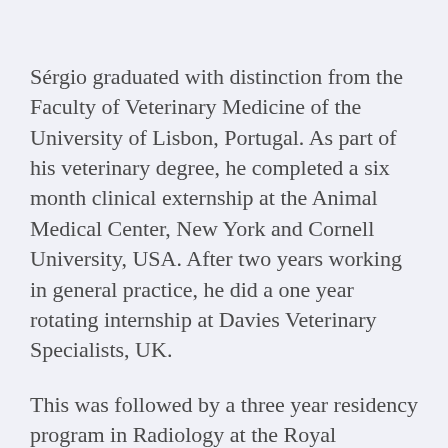Sérgio graduated with distinction from the Faculty of Veterinary Medicine of the University of Lisbon, Portugal. As part of his veterinary degree, he completed a six month clinical externship at the Animal Medical Center, New York and Cornell University, USA. After two years working in general practice, he did a one year rotating internship at Davies Veterinary Specialists, UK.
This was followed by a three year residency program in Radiology at the Royal Veterinary College which he completed in 2009. Since then he has joined the Radiology service at Davies Veterinary Specialists, where he works with all the major imaging modalities available; Radiography, Ultrasound, CT and MRI.